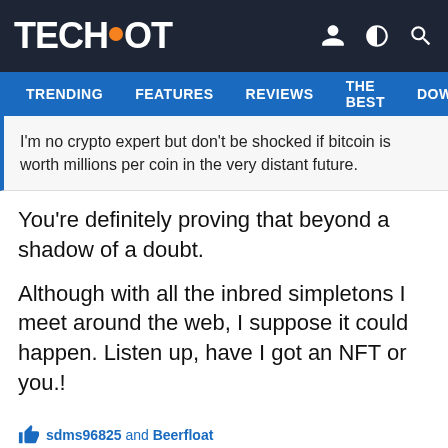TECHSPOT
TRENDING FEATURES REVIEWS THE BEST DOWNLOA
I'm no crypto expert but don't be shocked if bitcoin is worth millions per coin in the very distant future.
You're definitely proving that beyond a shadow of a doubt.

Although with all the inbred simpletons I meet around the web, I suppose it could happen. Listen up, have I got an NFT or you.!
sdms96825 and Beerfloat
Watzupken
Posts: 652  +528